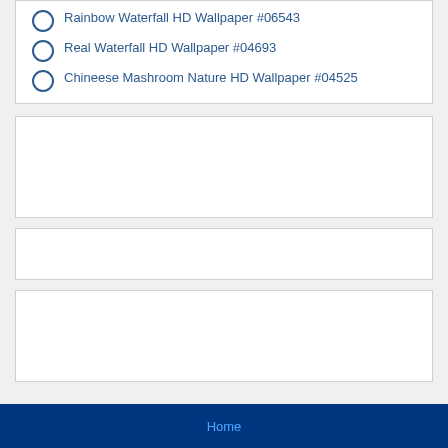Rainbow Waterfall HD Wallpaper #06543
Real Waterfall HD Wallpaper #04693
Chineese Mashroom Nature HD Wallpaper #04525
[Figure (other): Empty white content box 1]
[Figure (other): Empty white content box 2]
[Figure (other): Empty white content box 3]
Home